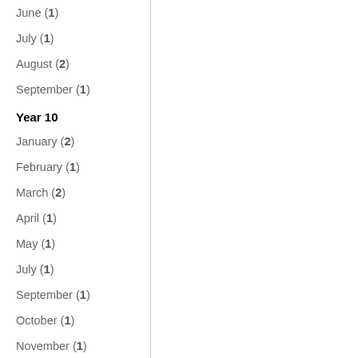June (1)
July (1)
August (2)
September (1)
Year 10
January (2)
February (1)
March (2)
April (1)
May (1)
July (1)
September (1)
October (1)
November (1)
December (2)